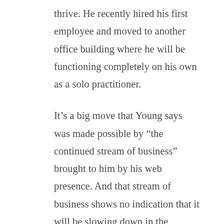thrive. He recently hired his first employee and moved to another office building where he will be functioning completely on his own as a solo practitioner.
It’s a big move that Young says was made possible by “the continued stream of business” brought to him by his web presence. And that stream of business shows no indication that it will be slowing down in the immediate future.